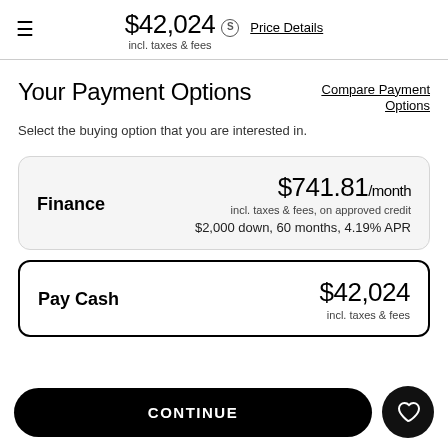$42,024 incl. taxes & fees  Price Details
Your Payment Options
Compare Payment Options
Select the buying option that you are interested in.
Finance  $741.81/month incl. taxes & fees, on approved credit  $2,000 down, 60 months, 4.19% APR
Pay Cash  $42,024 incl. taxes & fees
CONTINUE